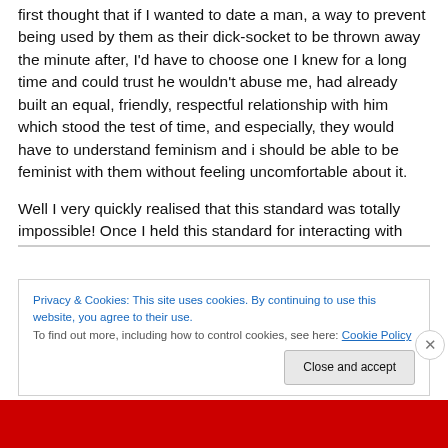first thought that if I wanted to date a man, a way to prevent being used by them as their dick-socket to be thrown away the minute after, I'd have to choose one I knew for a long time and could trust he wouldn't abuse me, had already built an equal, friendly, respectful relationship with him which stood the test of time, and especially, they would have to understand feminism and i should be able to be feminist with them without feeling uncomfortable about it.
Well I very quickly realised that this standard was totally impossible! Once I held this standard for interacting with
Privacy & Cookies: This site uses cookies. By continuing to use this website, you agree to their use. To find out more, including how to control cookies, see here: Cookie Policy